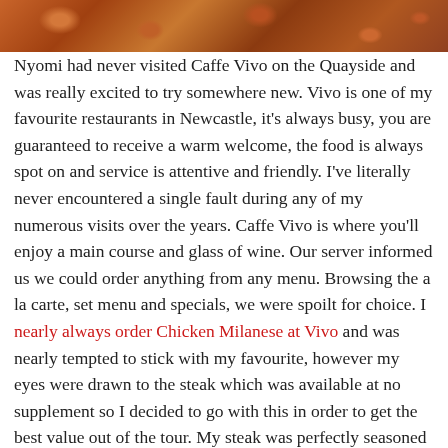[Figure (photo): Close-up photo of roasted coffee beans or spiced nuts with warm orange-brown tones, forming a decorative header strip.]
Nyomi had never visited Caffe Vivo on the Quayside and was really excited to try somewhere new. Vivo is one of my favourite restaurants in Newcastle, it's always busy, you are guaranteed to receive a warm welcome, the food is always spot on and service is attentive and friendly. I've literally never encountered a single fault during any of my numerous visits over the years. Caffe Vivo is where you'll enjoy a main course and glass of wine. Our server informed us we could order anything from any menu. Browsing the a la carte, set menu and specials, we were spoilt for choice. I nearly always order Chicken Milanese at Vivo and was nearly tempted to stick with my favourite, however my eyes were drawn to the steak which was available at no supplement so I decided to go with this in order to get the best value out of the tour. My steak was perfectly seasoned and served with the best rosemary potatoes - absolutely perfect.  I decided to stick with another glass of red and must say I felt like I was in foodie heaven! Nyomi opted for a salmon dish from Vivo's set menu and thoroughly enjoyed this dish too. Nyomi mentioned that Caffe Vivo had really impressed her and I know she'll definitely be